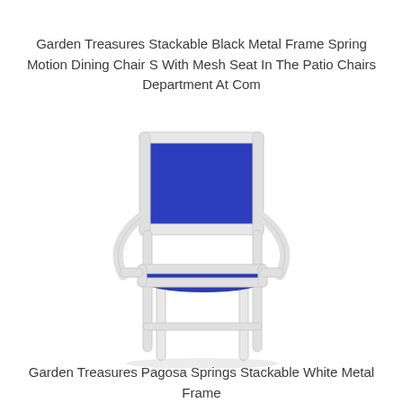Garden Treasures Stackable Black Metal Frame Spring Motion Dining Chair S With Mesh Seat In The Patio Chairs Department At Com
[Figure (photo): A patio dining chair with a white metal frame and blue mesh seat and back, viewed from a slight angle.]
Garden Treasures Pagosa Springs Stackable White Metal Frame